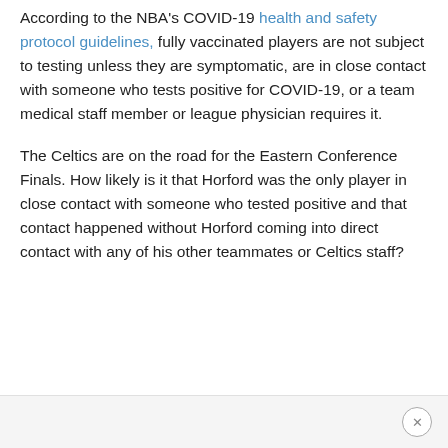According to the NBA's COVID-19 health and safety protocol guidelines, fully vaccinated players are not subject to testing unless they are symptomatic, are in close contact with someone who tests positive for COVID-19, or a team medical staff member or league physician requires it.
The Celtics are on the road for the Eastern Conference Finals. How likely is it that Horford was the only player in close contact with someone who tested positive and that contact happened without Horford coming into direct contact with any of his other teammates or Celtics staff?